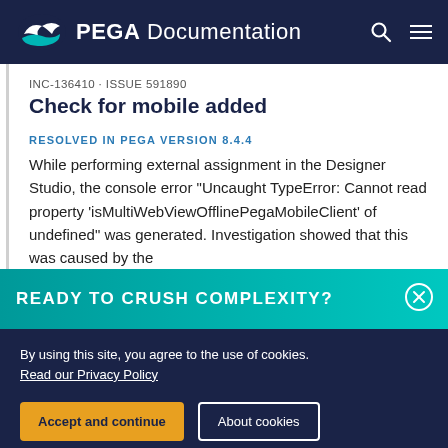PEGA Documentation
INC-136410 · ISSUE 591890
Check for mobile added
RESOLVED IN PEGA VERSION 8.4.4
While performing external assignment in the Designer Studio, the console error "Uncaught TypeError: Cannot read property 'isMultiWebViewOfflinePegaMobileClient' of undefined" was generated. Investigation showed that this was caused by the
READY TO CRUSH COMPLEXITY?
By using this site, you agree to the use of cookies. Read our Privacy Policy
Accept and continue   About cookies